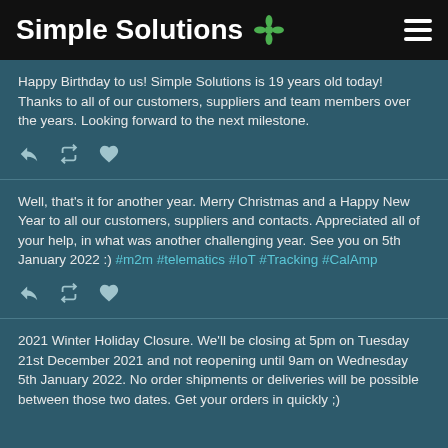Simple Solutions
Happy Birthday to us! Simple Solutions is 19 years old today! Thanks to all of our customers, suppliers and team members over the years. Looking forward to the next milestone.
Well, that's it for another year. Merry Christmas and a Happy New Year to all our customers, suppliers and contacts. Appreciated all of your help, in what was another challenging year. See you on 5th January 2022 :) #m2m #telematics #IoT #Tracking #CalAmp
2021 Winter Holiday Closure. We'll be closing at 5pm on Tuesday 21st December 2021 and not reopening until 9am on Wednesday 5th January 2022. No order shipments or deliveries will be possible between those two dates. Get your orders in quickly ;)